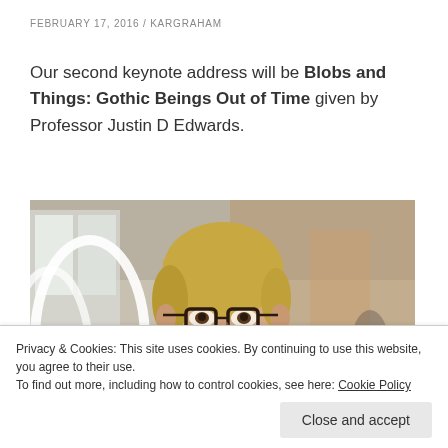FEBRUARY 17, 2016 / KARGRAHAM
Our second keynote address will be Blobs and Things: Gothic Beings Out of Time given by Professor Justin D Edwards.
[Figure (photo): Photograph of Professor Justin D Edwards, a middle-aged man with blonde hair and glasses, wearing a blue blazer, smiling, in an office or building interior setting.]
Privacy & Cookies: This site uses cookies. By continuing to use this website, you agree to their use.
To find out more, including how to control cookies, see here: Cookie Policy
Close and accept